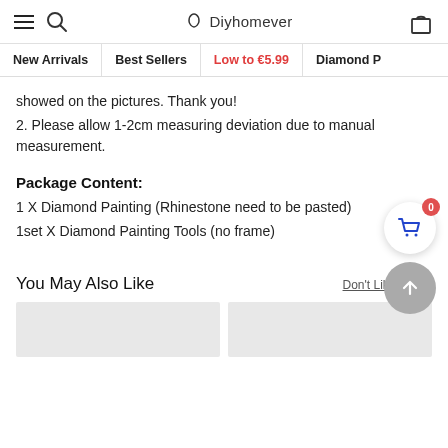Diyhomever — navigation header with hamburger, search, logo, and cart icons
New Arrivals | Best Sellers | Low to €5.99 | Diamond P...
showed on the pictures. Thank you!
2. Please allow 1-2cm measuring deviation due to manual measurement.
Package Content:
1 X Diamond Painting (Rhinestone need to be pasted)
1set X Diamond Painting Tools (no frame)
You May Also Like
Don't Like These
[Figure (other): Two grey placeholder product thumbnail images side by side]